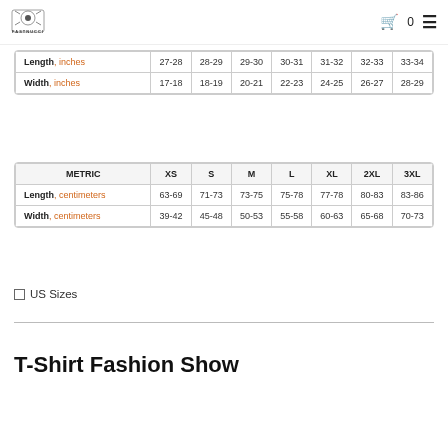FASTNUCCI — cart 0 — menu
|  | XS | S | M | L | XL | 2XL | 3XL |
| --- | --- | --- | --- | --- | --- | --- | --- |
| Length, inches | 27-28 | 28-29 | 29-30 | 30-31 | 31-32 | 32-33 | 33-34 |
| Width, inches | 17-18 | 18-19 | 20-21 | 22-23 | 24-25 | 26-27 | 28-29 |
| METRIC | XS | S | M | L | XL | 2XL | 3XL |
| --- | --- | --- | --- | --- | --- | --- | --- |
| Length, centimeters | 63-69 | 71-73 | 73-75 | 75-78 | 77-78 | 80-83 | 83-86 |
| Width, centimeters | 39-42 | 45-48 | 50-53 | 55-58 | 60-63 | 65-68 | 70-73 |
US Sizes
T-Shirt Fashion Show